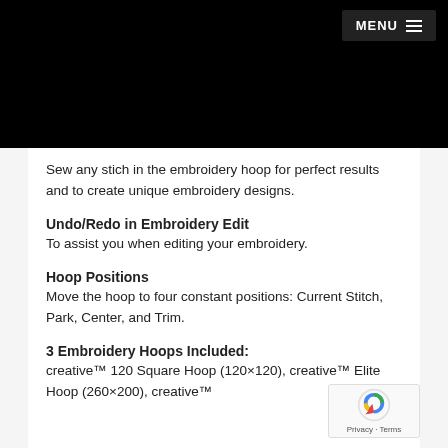MENU
Sew any stich in the embroidery hoop for perfect results and to create unique embroidery designs.
Undo/Redo in Embroidery Edit
To assist you when editing your embroidery.
Hoop Positions
Move the hoop to four constant positions: Current Stitch, Park, Center, and Trim.
3 Embroidery Hoops Included:
creative™ 120 Square Hoop (120×120), creative™ Elite Hoop (260×200), creative™